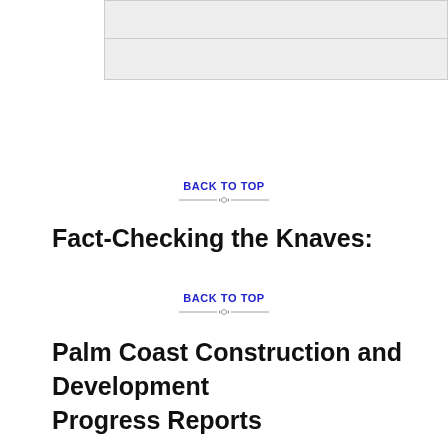[Figure (other): Gray box with horizontal divider line, representing a content placeholder or image area]
BACK TO TOP
Fact-Checking the Knaves:
BACK TO TOP
Palm Coast Construction and Development Progress Reports